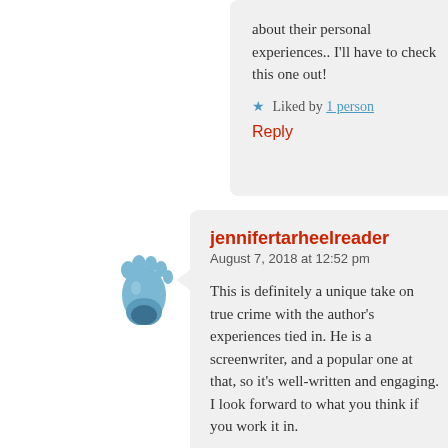about their personal experiences.. I'll have to check this one out!
Liked by 1 person
Reply
[Figure (illustration): Blue baby footprint avatar icon]
jennifertarheelreader
August 7, 2018 at 12:52 pm
This is definitely a unique take on true crime with the author's experiences tied in. He is a screenwriter, and a popular one at that, so it's well-written and engaging. I look forward to what you think if you work it in.